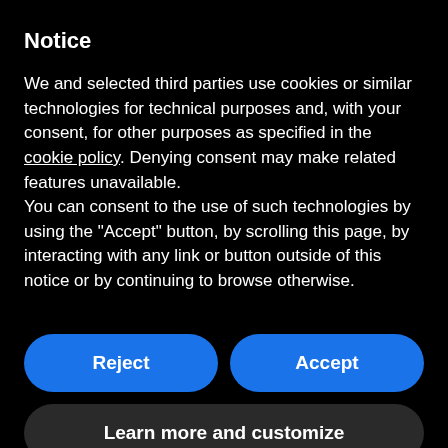Notice
We and selected third parties use cookies or similar technologies for technical purposes and, with your consent, for other purposes as specified in the cookie policy. Denying consent may make related features unavailable.
You can consent to the use of such technologies by using the "Accept" button, by scrolling this page, by interacting with any link or button outside of this notice or by continuing to browse otherwise.
Reject
Accept
Learn more and customize
in Italian and many other languages.
If you do not already have a translation of